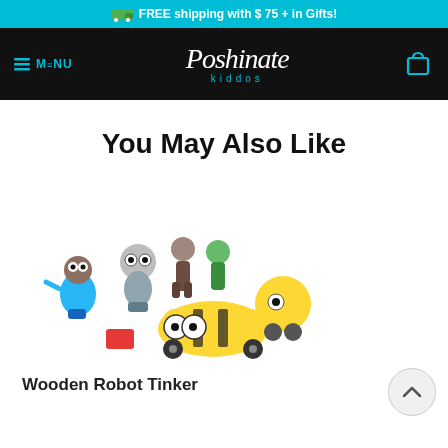FREE shipping with $ 75 + in Gifts!
MENU | Poshinate kiddos | [cart icon]
You May Also Like
[Figure (photo): A group of colorful wooden toy robot figures and toy vehicles assembled together on a white background.]
Wooden Robot Tinker